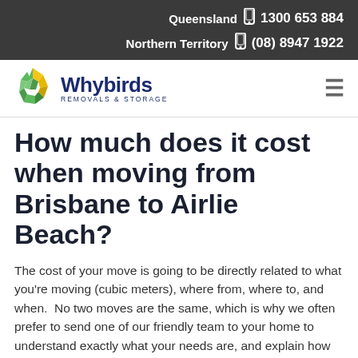Queensland 1300 653 884 | Northern Territory (08) 8947 1922
[Figure (logo): Whybirds Removals & Storage logo with green and yellow star/leaf graphic and dark blue text]
How much does it cost when moving from Brisbane to Airlie Beach?
The cost of your move is going to be directly related to what you're moving (cubic meters), where from, where to, and when.  No two moves are the same, which is why we often prefer to send one of our friendly team to your home to understand exactly what your needs are, and explain how our teams will work with you on your moving day.